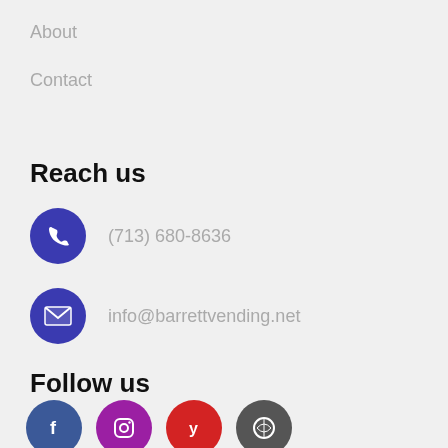About
Contact
Reach us
(713) 680-8636
info@barrettvending.net
Follow us
[Figure (infographic): Social media icons: Facebook, Instagram, Yelp, WordPress]